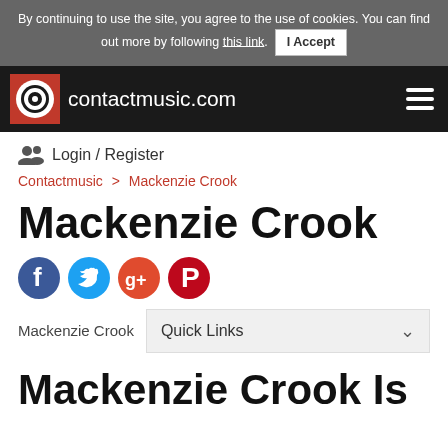By continuing to use the site, you agree to the use of cookies. You can find out more by following this link. I Accept
[Figure (logo): contactmusic.com logo with circular C icon on red background and white site name text]
Login / Register
Contactmusic > Mackenzie Crook
Mackenzie Crook
[Figure (infographic): Social media icons row: Facebook (blue circle with f), Twitter (blue circle with bird), Google+ (orange/red circle with g+), Pinterest (red circle with P)]
Mackenzie Crook  Quick Links
Mackenzie Crook Is